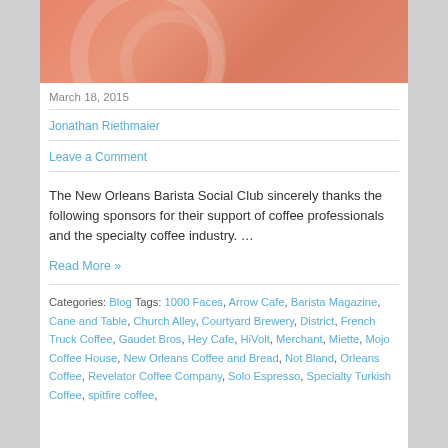[Figure (photo): Salmon/orange colored decorative banner image with swirl patterns]
March 18, 2015
Jonathan Riethmaier
Leave a Comment
The New Orleans Barista Social Club sincerely thanks the following sponsors for their support of coffee professionals and the specialty coffee industry. …
Read More »
Categories: Blog Tags: 1000 Faces, Arrow Cafe, Barista Magazine, Cane and Table, Church Alley, Courtyard Brewery, District, French Truck Coffee, Gaudet Bros, Hey Cafe, HiVolt, Merchant, Miette, Mojo Coffee House, New Orleans Coffee and Bread, Not Bland, Orleans Coffee, Revelator Coffee Company, Solo Espresso, Specialty Turkish Coffee, spitfire coffee,